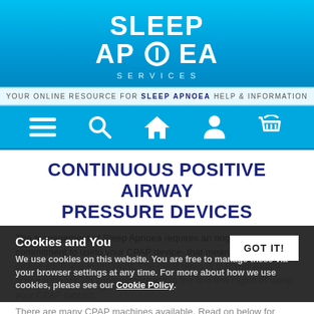[Figure (logo): Sleep Apnoea Services logo — white text on blue gradient background with stylized ring in the O of APNOEA]
YOUR ONLINE RESOURCE FOR SLEEP APNOEA HELP & INFORMATION
[Figure (other): Navigation bar with icons: hamburger menu, search magnifier, home/house, user/person, shopping basket — white icons on light blue background]
CONTINUOUS POSITIVE AIRWAY PRESSURE DEVICES
The management of Sleep Apnoea requires an ongoing commitment to using your CPAP device- that means using your device each and every night. The great news is that you should notice a significant improvement within the first few nights of using your CPAP system.
Cookies and You
We use cookies on this website. You are free to manage these via your browser settings at any time. For more about how we use cookies, please see our Cookie Policy.
GOT IT!
There are many CPAP machines available. Read on below for further information about each product type.
CPAP